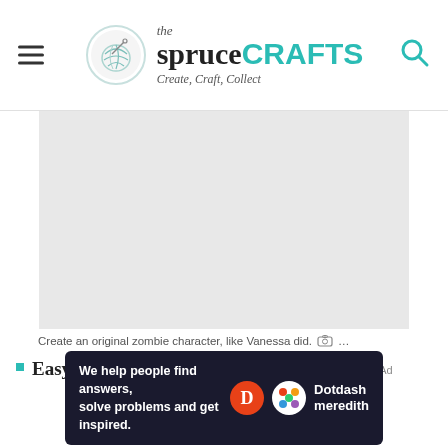the spruceCRAFTS — Create, Craft, Collect
[Figure (photo): Large gray placeholder image area for a zombie character craft project]
Create an original zombie character, like Vanessa did. 📷 ...
Easy on the blood. When it comes to using
[Figure (other): Dotdash Meredith advertisement banner: We help people find answers, solve problems and get inspired.]